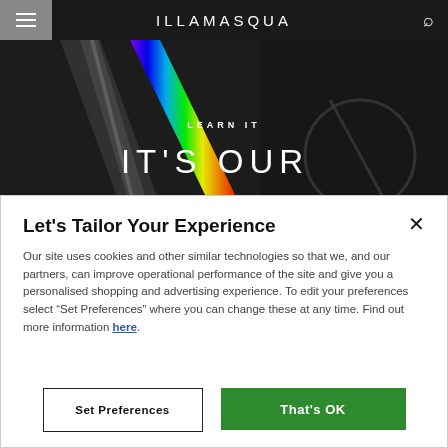ILLAMASQUA
[Figure (photo): Dark hero background with a rainbow prism light effect, overlaid with text 'LEARN IT' and 'IT'S OUR']
Let's Tailor Your Experience
Our site uses cookies and other similar technologies so that we, and our partners, can improve operational performance of the site and give you a personalised shopping and advertising experience. To edit your preferences select “Set Preferences” where you can change these at any time. Find out more information here.